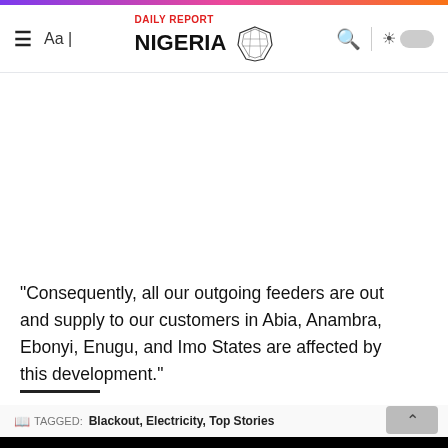DAILY REPORT NIGERIA
“Consequently, all our outgoing feeders are out and supply to our customers in Abia, Anambra, Ebonyi, Enugu, and Imo States are affected by this development.”
TAGGED: Blackout, Electricity, Top Stories
Play an Iconic Bubble Shooter